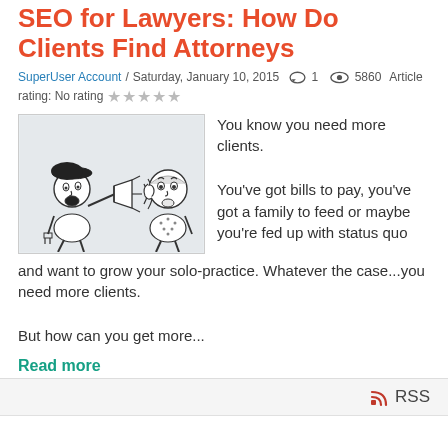SEO for Lawyers: How Do Clients Find Attorneys
SuperUser Account / Saturday, January 10, 2015  1  5860  Article rating: No rating ★★★★★
[Figure (illustration): Cartoon illustration of a man with a beret shouting through a megaphone at another person, both drawn in a simple black-and-white style, on a light gray background.]
You know you need more clients.

You've got bills to pay, you've got a family to feed or maybe you're fed up with status quo and want to grow your solo-practice. Whatever the case...you need more clients.

But how can you get more...
Read more
RSS